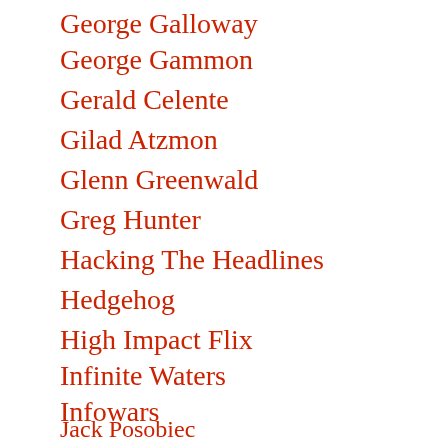George Galloway
George Gammon
Gerald Celente
Gilad Atzmon
Glenn Greenwald
Greg Hunter
Hacking The Headlines
Hedgehog
High Impact Flix
Infinite Waters
Infowars
Jack Posobiec